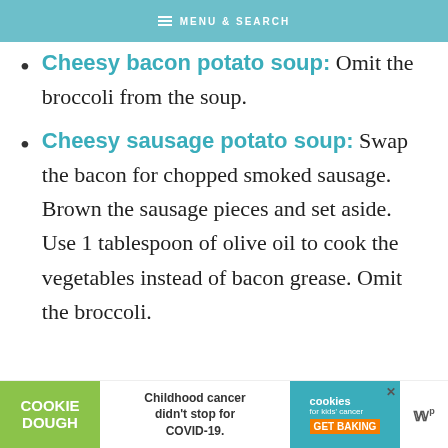MENU & SEARCH
Cheesy bacon potato soup: Omit the broccoli from the soup.
Cheesy sausage potato soup: Swap the bacon for chopped smoked sausage. Brown the sausage pieces and set aside. Use 1 tablespoon of olive oil to cook the vegetables instead of bacon grease. Omit the broccoli.
[Figure (infographic): Cookie Dough advertisement: Childhood cancer didn't stop for COVID-19. Get Baking. Cookies for kids' cancer.]